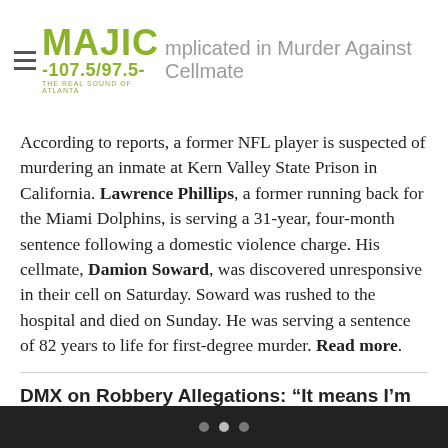MAJIC 107.5/97.5 THE REAL SOUND OF ATLANTA — NFL Player Implicated in Murder Against Cellmate
According to reports, a former NFL player is suspected of murdering an inmate at Kern Valley State Prison in California. Lawrence Phillips, a former running back for the Miami Dolphins, is serving a 31-year, four-month sentence following a domestic violence charge. His cellmate, Damion Soward, was discovered unresponsive in their cell on Saturday. Soward was rushed to the hospital and died on Sunday. He was serving a sentence of 82 years to life for first-degree murder. Read more.
DMX on Robbery Allegations: “It means I’m special to God”
Rapper DMX has had many brushes with the law, but he’s trying to keep a positive outlook on his situation. After